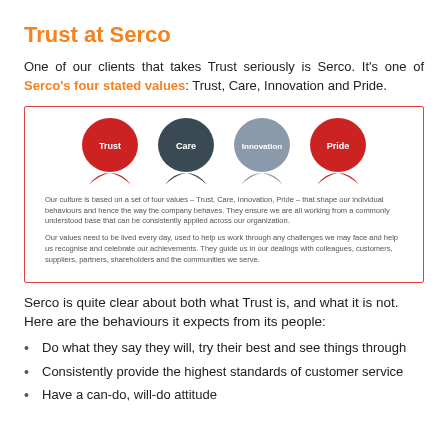Trust at Serco
One of our clients that takes Trust seriously is Serco. It’s one of Serco’s four stated values: Trust, Care, Innovation and Pride.
[Figure (infographic): Serco four values infographic inside a red-bordered box showing four teardrop/blob shapes labeled Trust (red), Care (dark grey), Innovation (light grey), Pride (red), with two paragraphs of descriptive text below.]
Serco is quite clear about both what Trust is, and what it is not. Here are the behaviours it expects from its people:
Do what they say they will, try their best and see things through
Consistently provide the highest standards of customer service
Have a can-do, will-do attitude